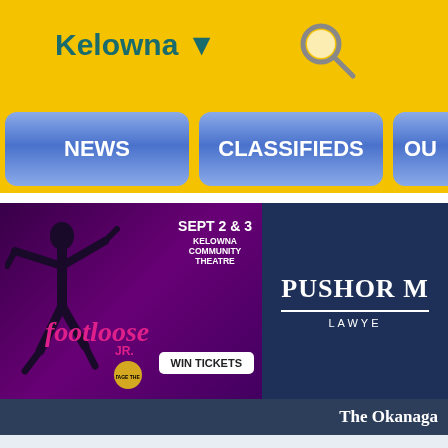Kelowna ▼
[Figure (screenshot): Navigation buttons: NEWS, CLASSIFIEDS, OU(R)]
[Figure (infographic): Footloose Jr. advertisement - SEPT 2 & 3, KELOWNA COMMUNITY THEATRE, WIN TICKETS]
[Figure (logo): Pushor M... Lawyers advertisement on dark navy background]
The Okanaga
FAQ
Board index › General Interest › Forum Games
Guess the Poster's Age and Sex